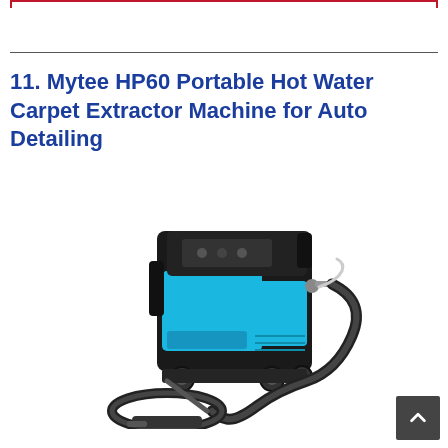11. Mytee HP60 Portable Hot Water Carpet Extractor Machine for Auto Detailing
[Figure (photo): Product photo of Mytee HP60 portable hot water carpet extractor machine. The unit is black and bright blue/cyan in color, boxy shape on wheels, with a coiled black hose and a cleaning wand/tool attachment. The machine has a control panel on top and looks like a professional auto detailing carpet cleaning extractor.]